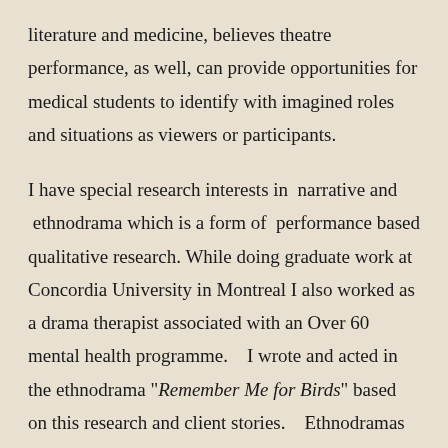literature and medicine, believes theatre performance, as well, can provide opportunities for medical students to identify with imagined roles and situations as viewers or participants.
I have special research interests in narrative and ethnodrama which is a form of performance based qualitative research. While doing graduate work at Concordia University in Montreal I also worked as a drama therapist associated with an Over 60 mental health programme.   I wrote and acted in the ethnodrama "Remember Me for Birds" based on this research and client stories.   Ethnodramas have been written about communication between physicians and cancer patients, nursing  and home care, stigma and HIV/AIDS, alcohol and drug abuse, schizophrenia,